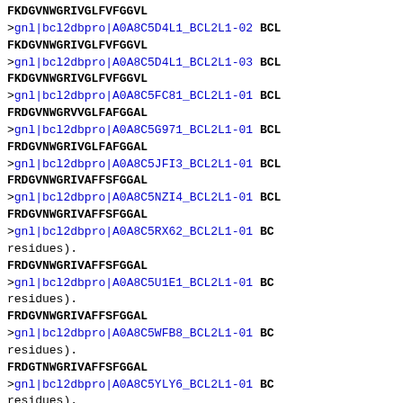FKDGVNWGRIVGLFVFGGVL
>gnl|bcl2dbpro|A0A8C5D4L1_BCL2L1-02 BCL
FKDGVNWGRIVGLFVFGGVL
>gnl|bcl2dbpro|A0A8C5D4L1_BCL2L1-03 BCL
FKDGVNWGRIVGLFVFGGVL
>gnl|bcl2dbpro|A0A8C5FC81_BCL2L1-01 BCL
FRDGVNWGRVVGLFAFGGAL
>gnl|bcl2dbpro|A0A8C5G971_BCL2L1-01 BCL
FRDGVNWGRIVGLFAFGGAL
>gnl|bcl2dbpro|A0A8C5JFI3_BCL2L1-01 BCL
FRDGVNWGRIVAFFSFGGAL
>gnl|bcl2dbpro|A0A8C5NZI4_BCL2L1-01 BCL
FRDGVNWGRIVAFFSFGGAL
>gnl|bcl2dbpro|A0A8C5RX62_BCL2L1-01  BC
residues).
FRDGVNWGRIVAFFSFGGAL
>gnl|bcl2dbpro|A0A8C5U1E1_BCL2L1-01  BC
residues).
FRDGVNWGRIVAFFSFGGAL
>gnl|bcl2dbpro|A0A8C5WFB8_BCL2L1-01  BC
residues).
FRDGTNWGRIVAFFSFGGAL
>gnl|bcl2dbpro|A0A8C5YLY6_BCL2L1-01  BC
residues).
FRDEVSWGRIVAFFFFGGAL
>gnl|bcl2dbpro|A0A8C6ACA1_BCL2L1-01  BC
residues).
FRDGVNWGRIVAFFSFGGAL
>gnl|bcl2dbpro|A0A8C6ACA1_BCL2L1-02  BC
residues).